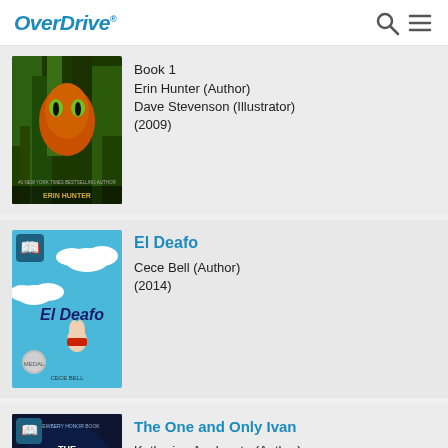OverDrive
[Figure (illustration): Book cover for Warriors series: cat eyes peering through grass, Erin Hunter author name at bottom]
Book 1
Erin Hunter (Author)
Dave Stevenson (Illustrator)
(2009)
[Figure (illustration): Book cover for El Deafo by Cece Bell: blue sky with clouds and cartoon rabbit character flying with red cape, Newbery medal]
El Deafo
Cece Bell (Author)
(2014)
[Figure (illustration): Book cover for The One and Only Ivan: dark blue/purple background with gorilla text title]
The One and Only Ivan
Katherine Applegate (Author)
Patricia Castelao (Illustrator)